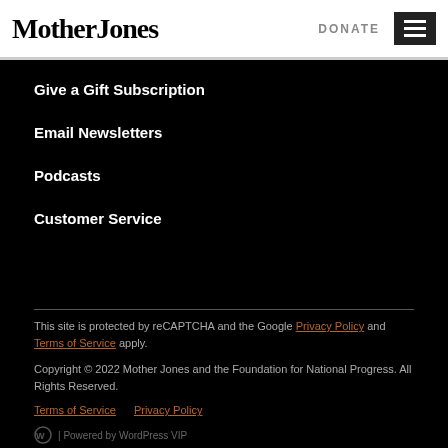Mother Jones | DONATE
Give a Gift Subscription
Email Newsletters
Podcasts
Customer Service
This site is protected by reCAPTCHA and the Google Privacy Policy and Terms of Service apply.
Copyright © 2022 Mother Jones and the Foundation for National Progress. All Rights Reserved.
Terms of Service    Privacy Policy
Powered by WordPress VIP